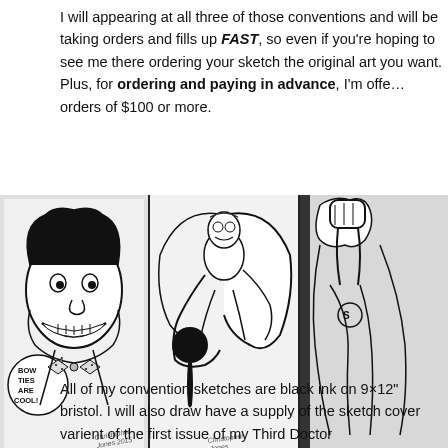I will appearing at all three of those conventions and will be taking orders and fills up FAST, so even if you're hoping to see me there ordering your sketch the original art you want. Plus, for ordering and paying in advance, I'm offering orders of $100 or more.
[Figure (photo): Three black ink comic sketches side by side. Left: The Joker with a speech bubble saying 'BOW TIES ARE COOL!' signed by artist. Middle: A superhero figure in dynamic flying pose, signed by artist. Right: Partially visible superhero figure with fist raised.]
All of my convention sketches are black ink on 9×12" bristol. I will also draw have a supply of the sketch cover varient of the first issue of my Third Doctor